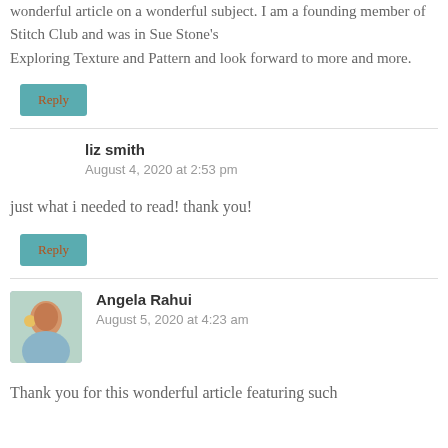wonderful article on a wonderful subject. I am a founding member of Stitch Club and was in Sue Stone's Exploring Texture and Pattern and look forward to more and more.
Reply
liz smith
August 4, 2020 at 2:53 pm
just what i needed to read! thank you!
Reply
Angela Rahui
August 5, 2020 at 4:23 am
Thank you for this wonderful article featuring such